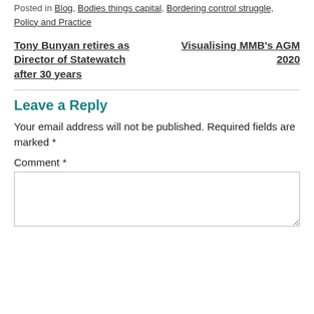Posted in Blog, Bodies things capital, Bordering control struggle, Policy and Practice
Tony Bunyan retires as Director of Statewatch after 30 years
Visualising MMB's AGM 2020
Leave a Reply
Your email address will not be published. Required fields are marked *
Comment *